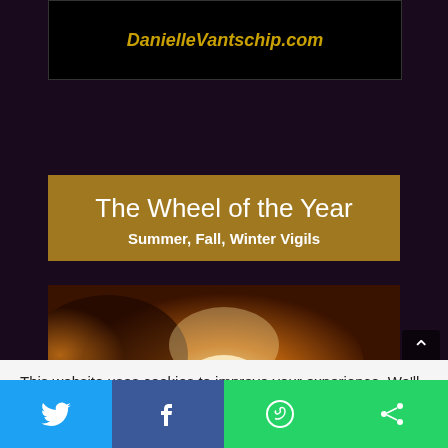DanielleVantschip.com
The Wheel of the Year
Summer, Fall, Winter Vigils
[Figure (photo): Glowing warm-toned image of candles or lit objects against an amber/orange background]
This website uses cookies to improve your experience. We'll assume you're ok with this, but you can opt-out if you wish.
[Figure (infographic): Social sharing bar with Twitter, Facebook, WhatsApp, and another share icon buttons]